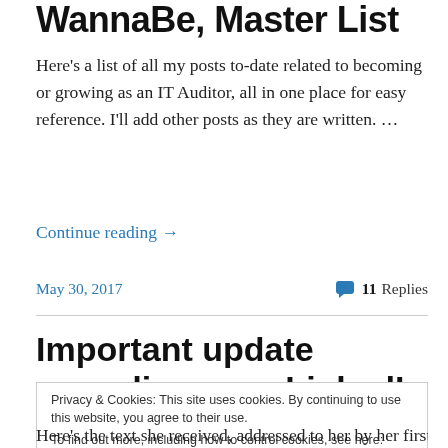WannaBe, Master List
Here's a list of all my posts to-date related to becoming or growing as an IT Auditor, all in one place for easy reference. I'll add other posts as they are written. …
Continue reading →
May 30, 2017  💬 11 Replies
Important update regarding your LinkedIn password =
Privacy & Cookies: This site uses cookies. By continuing to use this website, you agree to their use.
To find out more, including how to control cookies, see here: Cookie Policy
Close and accept
Here's the text she received, addressed to her by her first